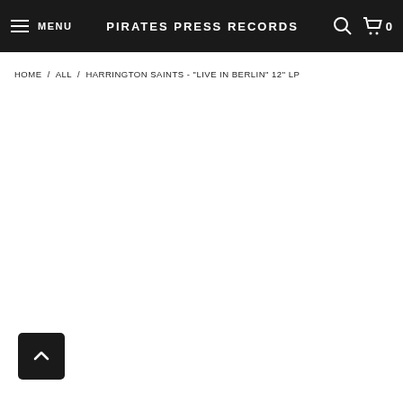MENU  PIRATES PRESS RECORDS  0
HOME / ALL / HARRINGTON SAINTS - "LIVE IN BERLIN" 12" LP